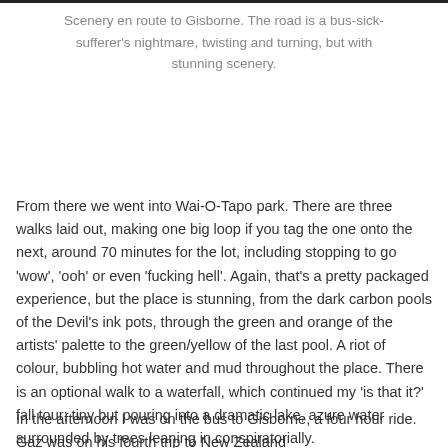Scenery en route to Gisborne. The road is a bus-sick-sufferer's nightmare, twisting and turning, but with stunning scenery.
From there we went into Wai-O-Tapo park. There are three walks laid out, making one big loop if you tag the one onto the next, around 70 minutes for the lot, including stopping to go 'wow', 'ooh' or even 'fucking hell'. Again, that's a pretty packaged experience, but the place is stunning, from the dark carbon pools of the Devil's ink pots, through the green and orange of the artists' palette to the green/yellow of the last pool. A riot of colour, bubbling hot water and mud throughout the place. There is an optional walk to a waterfall, which continued my 'is that it?' fall tour; tiny but pouring into a dramatic lake, azure water surrounded by trees leaning in conspiratorially.
In the afternoon I was on the bus to Gisborne, a four hour ride. Gaz was on his fourth trip to New Zealand